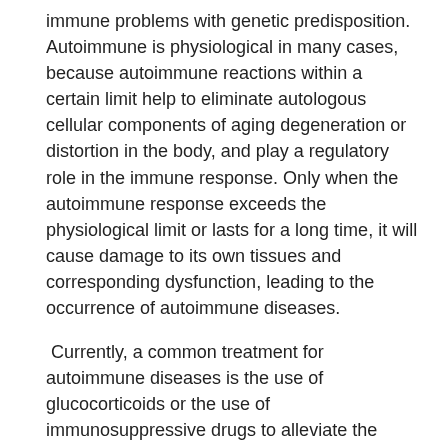immune problems with genetic predisposition. Autoimmune is physiological in many cases, because autoimmune reactions within a certain limit help to eliminate autologous cellular components of aging degeneration or distortion in the body, and play a regulatory role in the immune response. Only when the autoimmune response exceeds the physiological limit or lasts for a long time, it will cause damage to its own tissues and corresponding dysfunction, leading to the occurrence of autoimmune diseases.
Currently, a common treatment for autoimmune diseases is the use of glucocorticoids or the use of immunosuppressive drugs to alleviate the inflammatory response caused by the immune system attacking tissues and suppress the immune system. However, these methods can cause serious adverse reactions, such as severe infections, myelosuppression, etc., and these treatments can only slow the progression of the disease, rather than cure the disease.
In 1996, Marmont of Italy first reported the success of autologous bone marrow transplantation (ABMT) in the